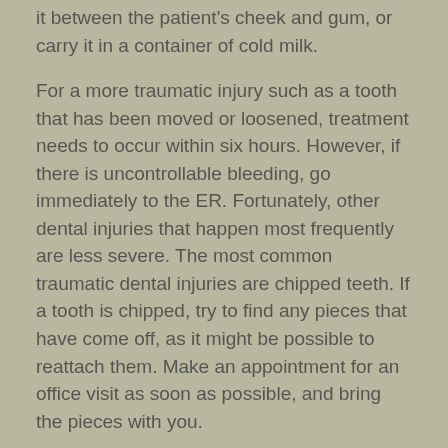it between the patient's cheek and gum, or carry it in a container of cold milk.
For a more traumatic injury such as a tooth that has been moved or loosened, treatment needs to occur within six hours. However, if there is uncontrollable bleeding, go immediately to the ER. Fortunately, other dental injuries that happen most frequently are less severe. The most common traumatic dental injuries are chipped teeth. If a tooth is chipped, try to find any pieces that have come off, as it might be possible to reattach them. Make an appointment for an office visit as soon as possible, and bring the pieces with you.
Learn more about Traumatic Dental Injuries.
Tooth Pain